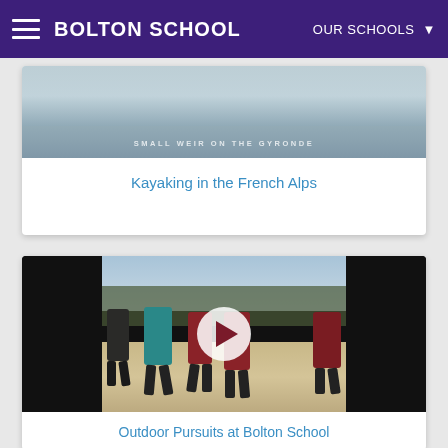BOLTON SCHOOL | OUR SCHOOLS
[Figure (photo): Partial view of a kayaking scene on water, with text overlay 'SMALL WEIR ON THE GYRONDE']
Kayaking in the French Alps
[Figure (photo): Video thumbnail showing students running on a beach carrying large colored camping mats/pads (teal and red), with a play button overlay in center]
Outdoor Pursuits at Bolton School